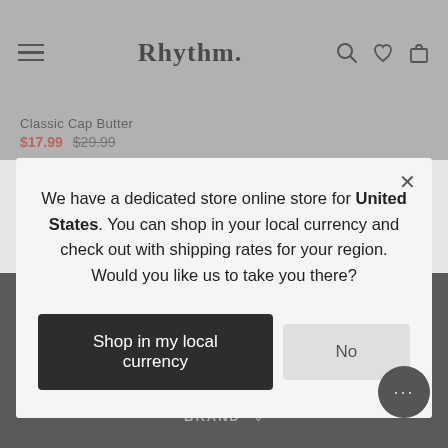Rhythm.
Classic Cap Butter
$17.99  $29.99
We have a dedicated store online store for United States. You can shop in your local currency and check out with shipping rates for your region. Would you like us to take you there?
Shop in my local currency
No
Rhythm brings together a unique group of individuals with a shared livelihood doing what they love.
BRAND